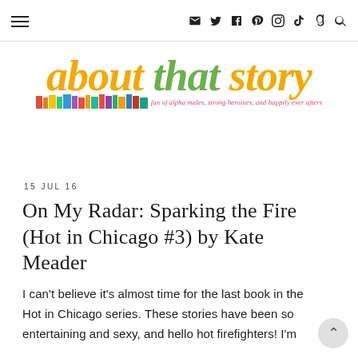Navigation header with hamburger menu and social icons: email, twitter, facebook, pinterest, instagram, tiktok, goodreads, search
[Figure (logo): About That Story blog logo: 'about that story' in italic gold and green lettering with colorful books illustration and tagline 'fan of alpha males, strong heroines, and happily ever afters']
15 JUL 16
On My Radar: Sparking the Fire (Hot in Chicago #3) by Kate Meader
I can't believe it's almost time for the last book in the Hot in Chicago series. These stories have been so entertaining and sexy, and hello hot firefighters! I'm